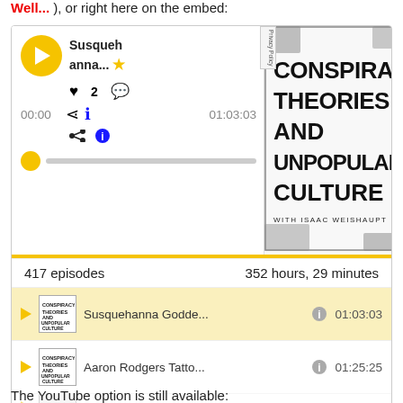Well...), or right here on the embed:
[Figure (screenshot): Embedded podcast player for 'Conspiracy Theories and Unpopular Culture with Isaac Weishaupt' showing episode 'Susquehanna Godde...' with duration 01:03:03, 417 episodes, 352 hours 29 minutes total, and episode list including 'Aaron Rodgers Tatto...' 01:25:25, with Log In / Sign Up button]
The YouTube option is still available: